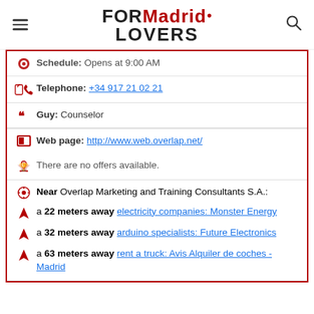FORMadrid LOVERS
Schedule: Opens at 9:00 AM
Telephone: +34 917 21 02 21
Guy: Counselor
Web page: http://www.web.overlap.net/
There are no offers available.
Near Overlap Marketing and Training Consultants S.A.:
a 22 meters away electricity companies: Monster Energy
a 32 meters away arduino specialists: Future Electronics
a 63 meters away rent a truck: Avis Alquiler de coches - Madrid